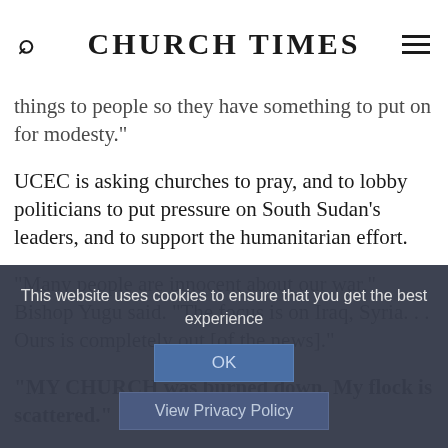CHURCH TIMES
things to people so they have something to put on for modesty."
UCEC is asking churches to pray, and to lobby politicians to put pressure on South Sudan's leaders, and to support the humanitarian effort.
"Many people are innocent about our war," Bishop Yugu said. "The focus is on Iraq, Syria. . . Ours is completely out [of the news]."
"MY CHURCH was burned down. My flock is scattered."
This website uses cookies to ensure that you get the best experience
OK
View Privacy Policy